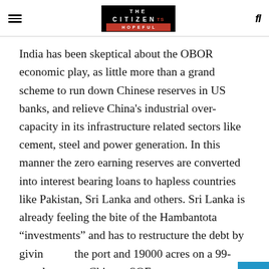THE CITIZEN IS HOPEFUL
India has been skeptical about the OBOR economic play, as little more than a grand scheme to run down Chinese reserves in US banks, and relieve China’s industrial over-capacity in its infrastructure related sectors like cement, steel and power generation. In this manner the zero earning reserves are converted into interest bearing loans to hapless countries like Pakistan, Sri Lanka and others. Sri Lanka is already feeling the bite of the Hambantota “investments” and has to restructure the debt by giving the port and 19000 acres on a 99-year lease to a Chinese SOE.